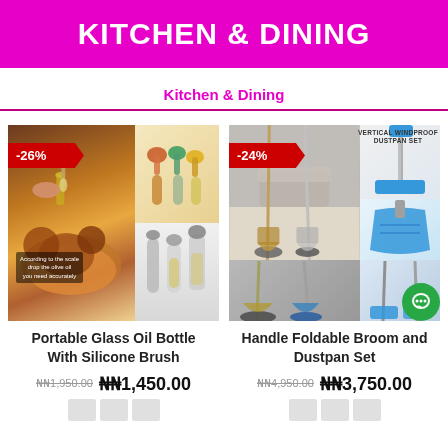KITCHEN & DINING
Kitchen & Dining
[Figure (photo): Portable Glass Oil Bottle With Silicone Brush product images, showing oil bottle with brush applicator, -26% discount badge]
Portable Glass Oil Bottle With Silicone Brush
₦₦1,950.00  ₦₦1,450.00
[Figure (photo): Handle Foldable Broom and Dustpan Set product images, showing broom and dustpan set in blue/grey, -24% discount badge, VERTICAL WINDPROOF DUSTPAN SET label]
Handle Foldable Broom and Dustpan Set
₦₦4,950.00  ₦₦3,750.00